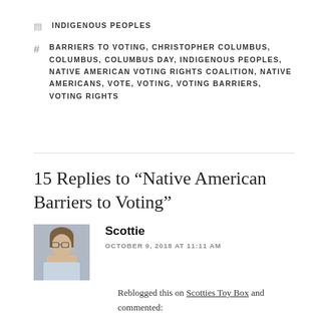INDIGENOUS PEOPLES
BARRIERS TO VOTING, CHRISTOPHER COLUMBUS, COLUMBUS, COLUMBUS DAY, INDIGENOUS PEOPLES, NATIVE AMERICAN VOTING RIGHTS COALITION, NATIVE AMERICANS, VOTE, VOTING, VOTING BARRIERS, VOTING RIGHTS
15 Replies to “Native American Barriers to Voting”
Scottie
OCTOBER 9, 2018 AT 11:11 AM
Reblogged this on Scotties Toy Box and commented:
Thank you for posting this information. I have